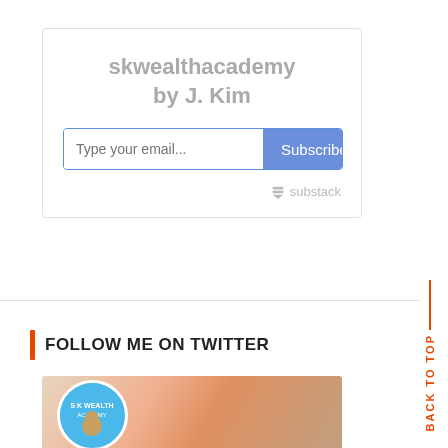[Figure (screenshot): Substack newsletter subscription widget with title 'skwealthacademy by J. Kim', an email input field with placeholder 'Type your email...', a blue 'Subscribe' button, and the Substack logo/wordmark at bottom right.]
FOLLOW ME ON TWITTER
[Figure (photo): Twitter profile widget showing a smiling woman with red/auburn hair and a circular profile picture of a man (SK Wealth Academy logo) in the lower left corner against a light background.]
BACK TO TOP